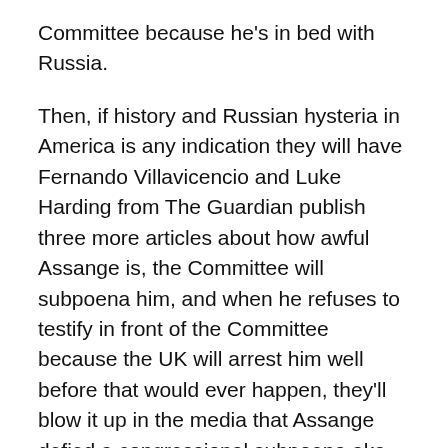Committee because he's in bed with Russia.
Then, if history and Russian hysteria in America is any indication they will have Fernando Villavicencio and Luke Harding from The Guardian publish three more articles about how awful Assange is, the Committee will subpoena him, and when he refuses to testify in front of the Committee because the UK will arrest him well before that would ever happen, they'll blow it up in the media that Assange defied a congressional subpoena aka refused to leave the embassy.
I'm not a lawyer and hopefully I'm wrong but my best advice is to prepare for a hell of a lot more propaganda...
... Like 110 Today...